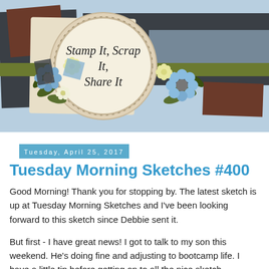[Figure (illustration): Blog header banner with light blue background, scrapbook paper layers in dark grey, brown, and cream colors, an olive green ribbon, a circular cream label with dotted border reading 'Stamp It, Scrap It, Share It' in italic script, flanked by decorative blue and yellow paper flowers with green leaves.]
Tuesday, April 25, 2017
Tuesday Morning Sketches #400
Good Morning!  Thank you for stopping by.  The latest sketch is up at Tuesday Morning Sketches and I've been looking forward to this sketch since Debbie sent it.
But first - I have great news!  I got to talk to my son this weekend.  He's doing fine and adjusting to bootcamp life. I have a little tip before getting on to all the nice sketch...